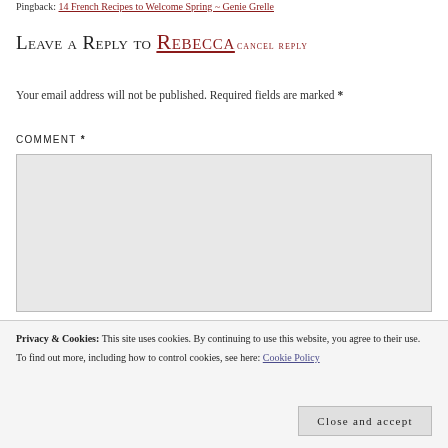Pingback: 14 French Recipes to Welcome Spring ~ Genie Grelle
Leave a Reply to Rebecca cancel reply
Your email address will not be published. Required fields are marked *
COMMENT *
Privacy & Cookies: This site uses cookies. By continuing to use this website, you agree to their use. To find out more, including how to control cookies, see here: Cookie Policy
Close and accept